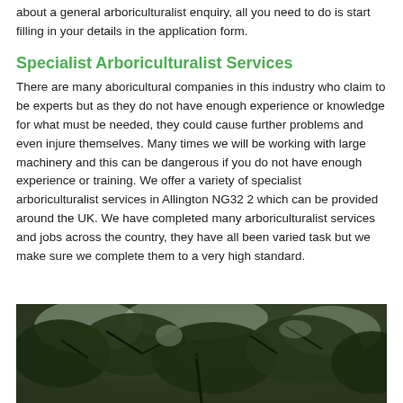about a general arboriculturalist enquiry, all you need to do is start filling in your details in the application form.
Specialist Arboriculturalist Services
There are many aboricultural companies in this industry who claim to be experts but as they do not have enough experience or knowledge for what must be needed, they could cause further problems and even injure themselves. Many times we will be working with large machinery and this can be dangerous if you do not have enough experience or training. We offer a variety of specialist arboriculturalist services in Allington NG32 2 which can be provided around the UK. We have completed many arboriculturalist services and jobs across the country, they have all been varied task but we make sure we complete them to a very high standard.
[Figure (photo): Photograph looking up through the canopy of large trees with dense foliage, taken from below against a light sky.]